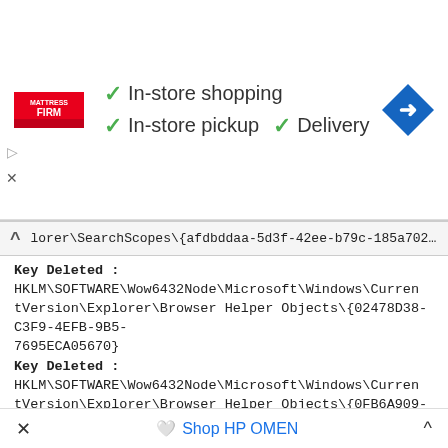[Figure (screenshot): Mattress Firm advertisement banner showing logo, checkmarks for In-store shopping, In-store pickup, Delivery, and a blue navigation icon]
lorer\SearchScopes\{afdbddaa-5d3f-42ee-b79c-185a7020515b}
Key Deleted : HKLM\SOFTWARE\Wow6432Node\Microsoft\Windows\CurrentVersion\Explorer\Browser Helper Objects\{02478D38-C3F9-4EFB-9B5-7695ECA05670}
Key Deleted : HKLM\SOFTWARE\Wow6432Node\Microsoft\Windows\CurrentVersion\Explorer\Browser Helper Objects\{0FB6A909-6086-458F-BD9-1F8EE10042A0}
Key Deleted : HKLM\SOFTWARE\Wow6432Node\Microsoft\Windows\CurrentVersion\Explorer\Browser Helper Objects\{1392B8D2-5C05-419F-A8F-B9F15A596612}
Key Deleted : HKLM\SOFTWARE\Wow6432Node\Microsoft\Windows\CurrentVersion\Explorer\Browser Helper Objects\{B15BBE59-42F5-4206-B3F-BE98F5DC4B93}
Key Deleted : HKLM\SOFTWARE\Wow6432Node\Microsoft\Windows\CurrentVersion\Explorer\Browser Helper Objects\{D27FC31C-6E3D-4305-8D
Shop HP OMEN